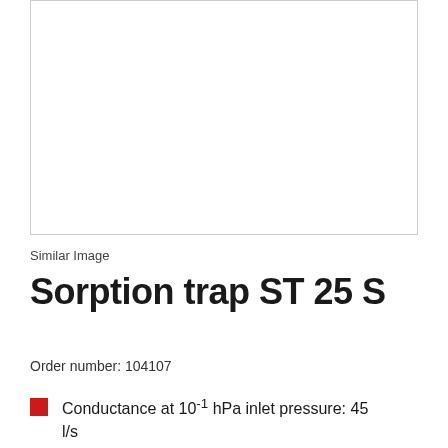[Figure (photo): Product photo placeholder box for Sorption trap ST 25 S, shown as empty white bordered rectangle with 'Similar Image' label below]
Similar Image
Sorption trap ST 25 S
Order number: 104107
Conductance at 10⁻¹ hPa inlet pressure: 45 l/s